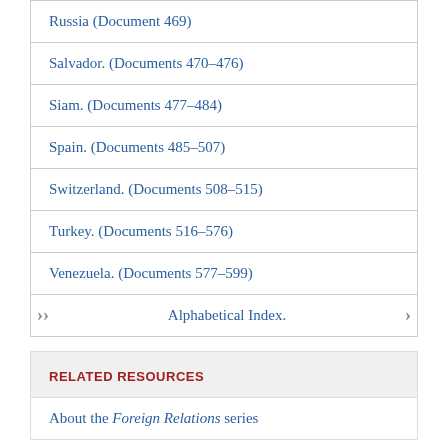Russia (Document 469)
Salvador. (Documents 470-476)
Siam. (Documents 477-484)
Spain. (Documents 485-507)
Switzerland. (Documents 508-515)
Turkey. (Documents 516-576)
Venezuela. (Documents 577-599)
Alphabetical Index.
RELATED RESOURCES
About the Foreign Relations series